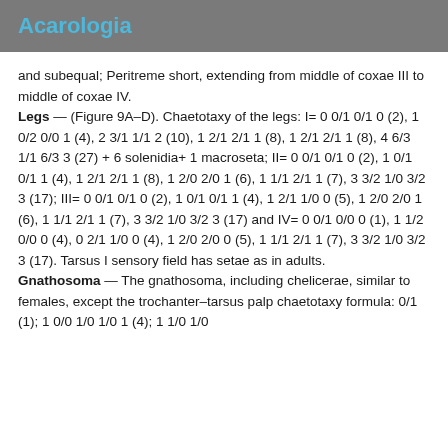Acarologia
and subequal; Peritreme short, extending from middle of coxae III to middle of coxae IV.
Legs — (Figure 9A–D). Chaetotaxy of the legs: I= 0 0/1 0/1 0 (2), 1 0/2 0/0 1 (4), 2 3/1 1/1 2 (10), 1 2/1 2/1 1 (8), 1 2/1 2/1 1 (8), 4 6/3 1/1 6/3 3 (27) + 6 solenidia+ 1 macroseta; II= 0 0/1 0/1 0 (2), 1 0/1 0/1 1 (4), 1 2/1 2/1 1 (8), 1 2/0 2/0 1 (6), 1 1/1 2/1 1 (7), 3 3/2 1/0 3/2 3 (17); III= 0 0/1 0/1 0 (2), 1 0/1 0/1 1 (4), 1 2/1 1/0 0 (5), 1 2/0 2/0 1 (6), 1 1/1 2/1 1 (7), 3 3/2 1/0 3/2 3 (17) and IV= 0 0/1 0/0 0 (1), 1 1/2 0/0 0 (4), 0 2/1 1/0 0 (4), 1 2/0 2/0 0 (5), 1 1/1 2/1 1 (7), 3 3/2 1/0 3/2 3 (17). Tarsus I sensory field has setae as in adults.
Gnathosoma — The gnathosoma, including chelicerae, similar to females, except the trochanter–tarsus palp chaetotaxy formula: 0/1 (1); 1 0/0 1/0 1/0 1 (4); 1 1/0 1/0